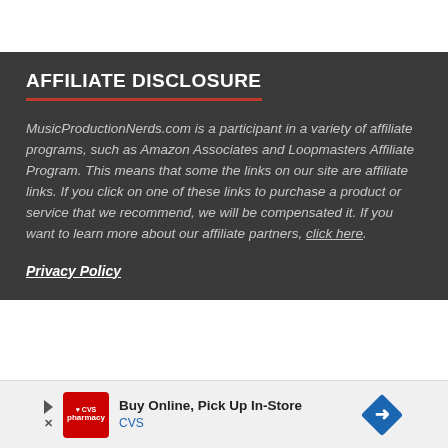AFFILIATE DISCLOSURE
MusicProductionNerds.com is a participant in a variety of affiliate programs, such as Amazon Associates and Loopmasters Affiliate Program. This means that some the links on our site are affiliate links. If you click on one of these links to purchase a product or service that we recommend, we will be compensated it. If you want to learn more about our affiliate partners, click here.
Privacy Policy
[Figure (other): CVS Pharmacy advertisement banner: 'Buy Online, Pick Up In-Store' with CVS logo and blue diamond arrow icon]